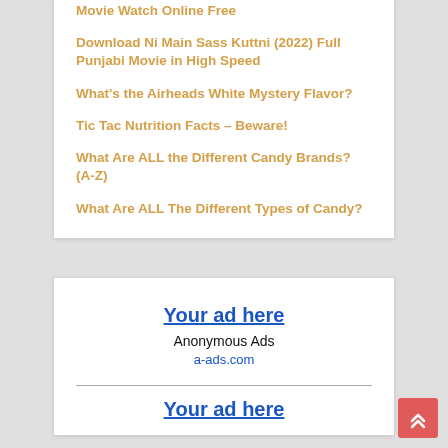Movie Watch Online Free
Download Ni Main Sass Kuttni (2022) Full Punjabi Movie in High Speed
What's the Airheads White Mystery Flavor?
Tic Tac Nutrition Facts – Beware!
What Are ALL the Different Candy Brands? (A-Z)
What Are ALL The Different Types of Candy?
Your ad here
Anonymous Ads
a-ads.com
Your ad here